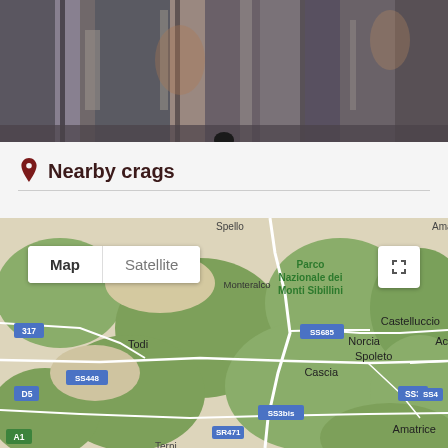[Figure (photo): Close-up photograph of rocky cliff face with grey and brown stone textures, a climber visible at the bottom center]
Nearby crags
[Figure (map): Google Maps view showing central Italy region with Spoleto, Norcia, Todi, Cascia, Castelluccio, Amatrice, Parco Nazionale dei Monti Sibillini, and road labels including SS685, SS448, SS3bis, SS3, SS4, SR471, A1, 317, D5]